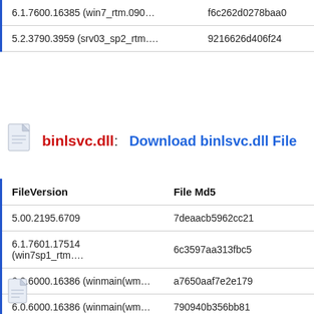| FileVersion | File Md5 |
| --- | --- |
| 6.1.7600.16385 (win7_rtm.090… | f6c262d0278baa0… |
| 5.2.3790.3959 (srv03_sp2_rtm…. | 9216626d406f24… |
binlsvc.dll: Download binlsvc.dll File…
| FileVersion | File Md5 |
| --- | --- |
| 5.00.2195.6709 | 7deaacb5962cc21… |
| 6.1.7601.17514 (win7sp1_rtm…. | 6c3597aa313fbc5… |
| 6.0.6000.16386 (winmain(wm… | a7650aaf7e2e179… |
| 6.0.6000.16386 (winmain(wm… | 790940b356bb81… |